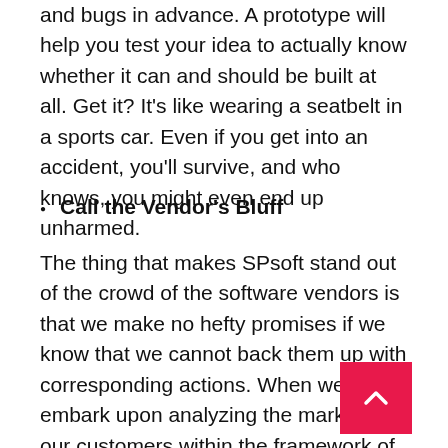and bugs in advance. A prototype will help you test your idea to actually know whether it can and should be built at all. Get it? It's like wearing a seatbelt in a sports car. Even if you get into an accident, you'll survive, and who knows, you might even end up unharmed.
Call the Vendor's Bluff
The thing that makes SPsoft stand out of the crowd of the software vendors is that we make no hefty promises if we know that we cannot back them up with corresponding actions. When we embark upon analyzing the market for our customers within the framework of the dis... y phase, we make sure we understand that situation